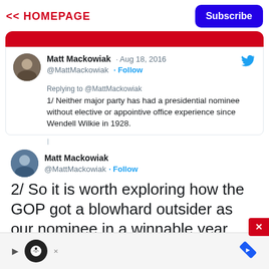<< HOMEPAGE
Matt Mackowiak · Aug 18, 2016
@MattMackowiak · Follow
Replying to @MattMackowiak
1/ Neither major party has had a presidential nominee without elective or appointive office experience since Wendell Wilkie in 1928.
Matt Mackowiak
@MattMackowiak · Follow
2/ So it is worth exploring how the GOP got a blowhard outsider as our nominee in a winnable year when the stakes couldn't be higher.
5:25 PM · Aug 18, 2016